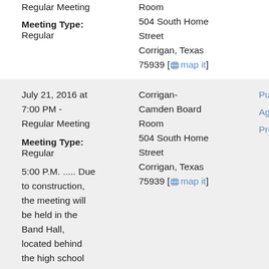Regular Meeting
Meeting Type:
Regular
Room
504 South Home Street
Corrigan, Texas 75939 [map it]
July 21, 2016 at 7:00 PM - Regular Meeting
Meeting Type:
Regular
5:00 P.M. ..... Due to construction, the meeting will be held in the Band Hall, located behind the high school
Corrigan-Camden Board Room
504 South Home Street
Corrigan, Texas 75939 [map it]
Public Notice
Agenda
Projector